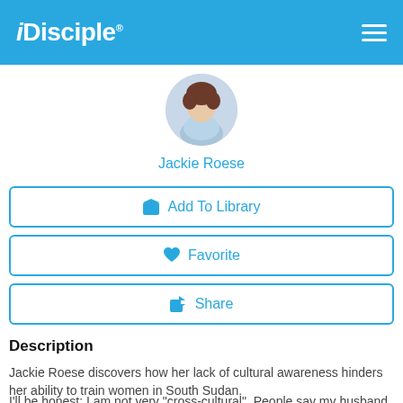iDisciple
[Figure (photo): Circular profile photo of Jackie Roese, a woman with curly hair wearing a light blue top]
Jackie Roese
Add To Library
Favorite
Share
Description
Jackie Roese discovers how her lack of cultural awareness hinders her ability to train women in South Sudan.
I'll be honest: I am not very "cross-cultural". People say my husband